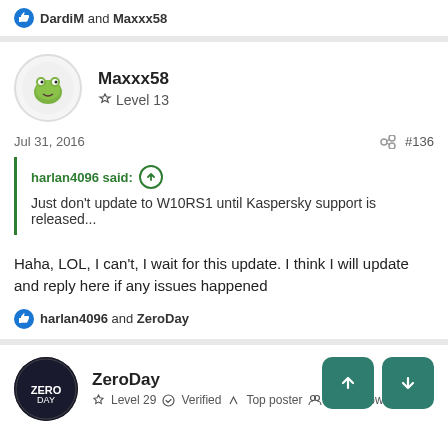DardiM and Maxxx58
Maxxx58
Level 13
Jul 31, 2016
#136
harlan4096 said:
Just don't update to W10RS1 until Kaspersky support is released...
Haha, LOL, I can't, I wait for this update. I think I will update and reply here if any issues happened
harlan4096 and ZeroDay
ZeroDay
Level 29 Verified Top poster Well-known